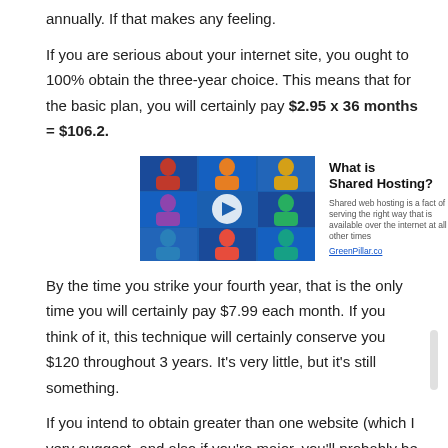annually. If that makes any feeling.
If you are serious about your internet site, you ought to 100% obtain the three-year choice. This means that for the basic plan, you will certainly pay $2.95 x 36 months = $106.2.
[Figure (screenshot): Video thumbnail showing a grid of people on a blue background with a play button, alongside text 'What is Shared Hosting?' with a brief description and a link.]
By the time you strike your fourth year, that is the only time you will certainly pay $7.99 each month. If you think of it, this technique will certainly conserve you $120 throughout 3 years. It's very little, but it's still something.
If you intend to obtain greater than one website (which I very suggest, and also if you're major, you'll probably be getting even more at some time in time) you'll intend to make use of the